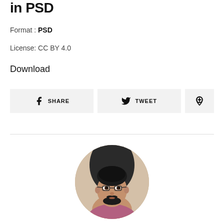in PSD
Format : PSD
License: CC BY 4.0
Download
[Figure (other): Social sharing buttons: Share (Facebook), Tweet (Twitter), Pinterest icon]
[Figure (photo): Circular profile photo of a man with glasses and beard wearing a shirt]